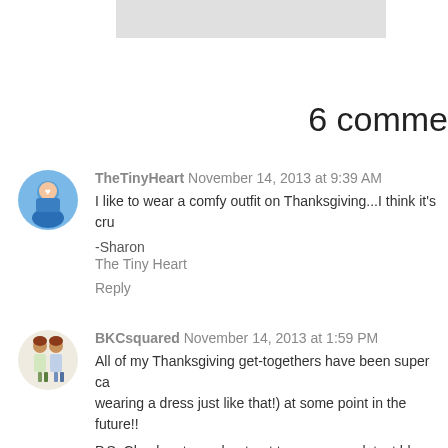[Figure (illustration): Gray rectangle bar at top of page, partially visible]
6 comme
TheTinyHeart November 14, 2013 at 9:39 AM
I like to wear a comfy outfit on Thanksgiving...I think it's cru

-Sharon
The Tiny Heart

Reply
BKCsquared November 14, 2013 at 1:59 PM
All of my Thanksgiving get-togethers have been super ca... wearing a dress just like that!) at some point in the future!!

P.S. Check out our shout-out to you on our latest blog p... Anum thanks to your recommendation!

xo, B